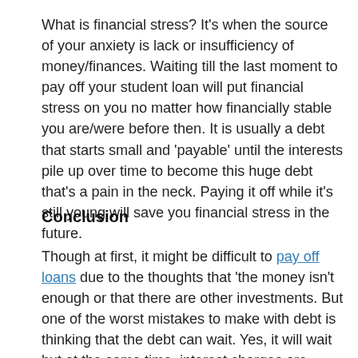What is financial stress? It's when the source of your anxiety is lack or insufficiency of money/finances. Waiting till the last moment to pay off your student loan will put financial stress on you no matter how financially stable you are/were before then. It is usually a debt that starts small and 'payable' until the interests pile up over time to become this huge debt that's a pain in the neck. Paying it off while it's still young will save you financial stress in the future.
Conclusion
Though at first, it might be difficult to pay off loans due to the thoughts that 'the money isn't enough or that there are other investments. But one of the worst mistakes to make with debt is thinking that the debt can wait. Yes, it will wait but at the same time, interest charges are accruing waiting for when it will shower you with big-time financial stress. Save yourself the hassle and pay it off while it's still cheap. You can